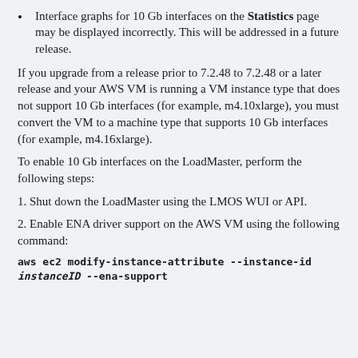Interface graphs for 10 Gb interfaces on the Statistics page may be displayed incorrectly. This will be addressed in a future release.
If you upgrade from a release prior to 7.2.48 to 7.2.48 or a later release and your AWS VM is running a VM instance type that does not support 10 Gb interfaces (for example, m4.10xlarge), you must convert the VM to a machine type that supports 10 Gb interfaces (for example, m4.16xlarge).
To enable 10 Gb interfaces on the LoadMaster, perform the following steps:
1. Shut down the LoadMaster using the LMOS WUI or API.
2. Enable ENA driver support on the AWS VM using the following command:
aws ec2 modify-instance-attribute --instance-id instanceID --ena-support